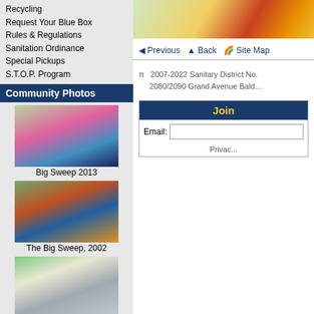Recycling
Request Your Blue Box
Rules & Regulations
Sanitation Ordinance
Special Pickups
S.T.O.P. Program
Community Photos
[Figure (photo): Children participating in Big Sweep cleanup event 2013]
Big Sweep 2013
[Figure (photo): Group of volunteers at The Big Sweep 2002]
The Big Sweep, 2002
[Figure (photo): Volunteers at Big Sweep 2011]
Big Sweep, 2011
Search
[Figure (photo): Partial photo with yellow and red equipment visible at top right]
◄ Previous   ▲ Back   🌐 Site Map
π  2007-2022 Sanitary District No. ... 2080/2090 Grand Avenue Bald...
Join
Email:
Privac...